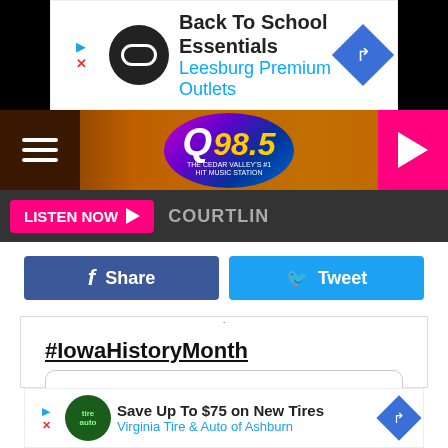[Figure (screenshot): Top advertisement banner: Back To School Essentials - Leesburg Premium Outlets]
[Figure (logo): Q98.5 The Cedar Valley's #1 Hit Music Station radio logo with hamburger menu and play button]
[Figure (screenshot): Listen Now button with play icon and COURTLIN text on dark bar]
[Figure (screenshot): Facebook Share and Twitter Tweet social sharing buttons]
#IowaHistoryMonth
[Figure (screenshot): Embedded tweet area with rounded border]
[Figure (screenshot): Bottom advertisement: Save Up To $75 on New Tires - Virginia Tire & Auto of Ashburn]